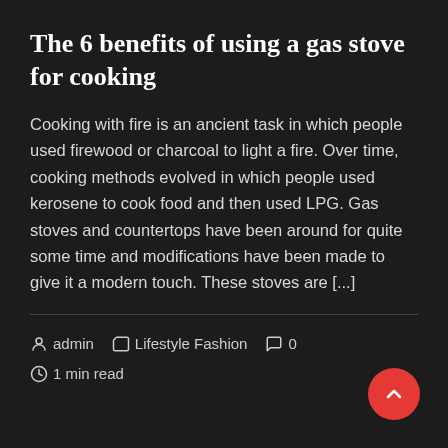The 6 benefits of using a gas stove for cooking
Cooking with fire is an ancient task in which people used firewood or charcoal to light a fire. Over time, cooking methods evolved in which people used kerosene to cook food and then used LPG. Gas stoves and countertops have been around for quite some time and modifications have been made to give it a modern touch. These stoves are [...]
admin   Lifestyle Fashion   0   1 min read